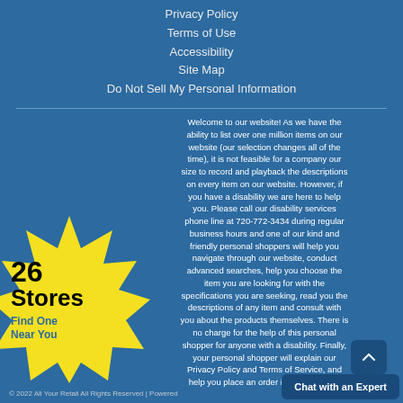Privacy Policy
Terms of Use
Accessibility
Site Map
Do Not Sell My Personal Information
Welcome to our website! As we have the ability to list over one million items on our website (our selection changes all of the time), it is not feasible for a company our size to record and playback the descriptions on every item on our website. However, if you have a disability we are here to help you. Please call our disability services phone line at 720-772-3434 during regular business hours and one of our kind and friendly personal shoppers will help you navigate through our website, conduct advanced searches, help you choose the item you are looking for with the specifications you are seeking, read you the descriptions of any item and consult with you about the products themselves. There is no charge for the help of this personal shopper for anyone with a disability. Finally, your personal shopper will explain our Privacy Policy and Terms of Service, and help you place an order if you so desire.
[Figure (infographic): Yellow starburst badge with '26 Stores' in bold black text and 'Find One Near You' in blue text]
© 2022 All Your Retail All Rights Reserved | Powered...
Chat with an Expert